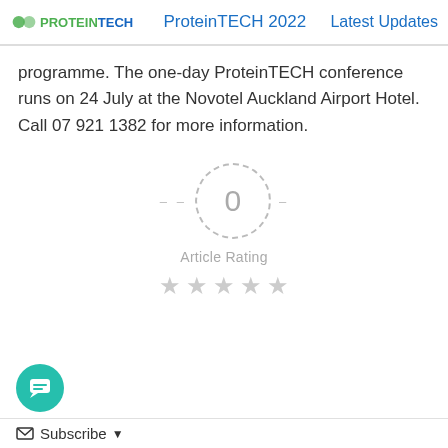ProteinTECH 2022   Latest Updates
programme. The one-day ProteinTECH conference runs on 24 July at the Novotel Auckland Airport Hotel. Call 07 921 1382 for more information.
[Figure (infographic): Article rating widget showing a dashed circle with the number 0 in the center, dashes on either side, the label 'Article Rating' below, and five empty/grey star icons beneath that.]